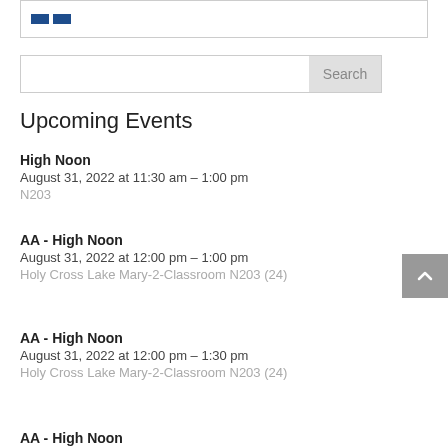[Figure (other): Partial top box with logo/icon (two blue rectangles)]
Search
Upcoming Events
High Noon
August 31, 2022 at 11:30 am – 1:00 pm
N203
AA - High Noon
August 31, 2022 at 12:00 pm – 1:00 pm
Holy Cross Lake Mary-2-Classroom N203 (24)
AA - High Noon
August 31, 2022 at 12:00 pm – 1:30 pm
Holy Cross Lake Mary-2-Classroom N203 (24)
AA - High Noon (partial, cut off at bottom)